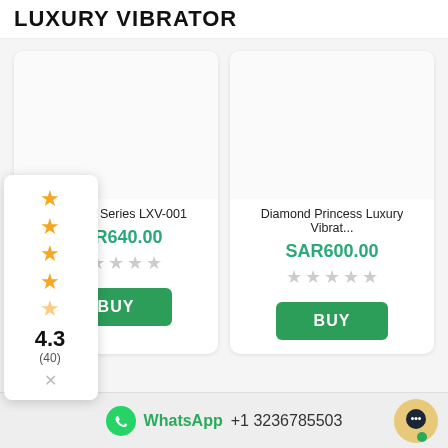LUXURY VIBRATOR
[Figure (other): Product card: oid Lover Series LXV-001, SAR640.00, empty star rating, BUY button. Has rating popup showing 4.3 out of 5 stars (40 reviews).]
[Figure (other): Product card: Diamond Princess Luxury Vibrat..., SAR600.00, empty star rating, BUY button.]
WhatsApp +1 3236785503